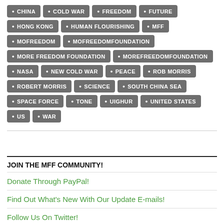CHINA
COLD WAR
FREEDOM
FUTURE
HONG KONG
HUMAN FLOURISHING
MFF
MOFREEDOM
MOFREEDOMFOUNDATION
MORE FREEDOM FOUNDATION
MOREFREEDOMFOUNDATION
NASA
NEW COLD WAR
PEACE
ROB MORRIS
ROBERT MORRIS
SCIENCE
SOUTH CHINA SEA
SPACE FORCE
TONE
UIGHUR
UNITED STATES
US
WAR
JOIN THE MFF COMMUNITY!
Donate Through PayPal!
Find Out What's New With Our Update E-mails!
Follow Us On Twitter!
Like Our Facebook Page!